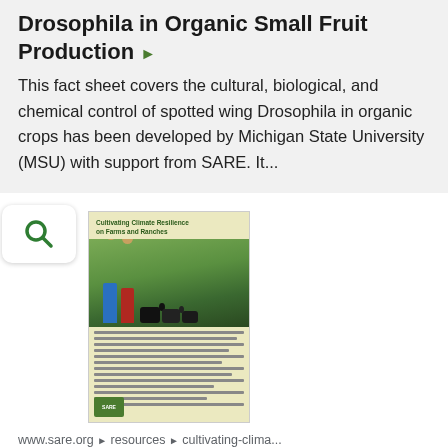Drosophila in Organic Small Fruit Production ▶
This fact sheet covers the cultural, biological, and chemical control of spotted wing Drosophila in organic crops has been developed by Michigan State University (MSU) with support from SARE. It...
[Figure (screenshot): Thumbnail image of 'Cultivating Climate Resilience on Farms and Ranches' publication cover, showing two people standing in front of cattle in a field]
www.sare.org › resources › cultivating-clima...
Cultivating Climate Resilience on Farms and Ranches ▶
Cultivating Climate Resilience on Farms and